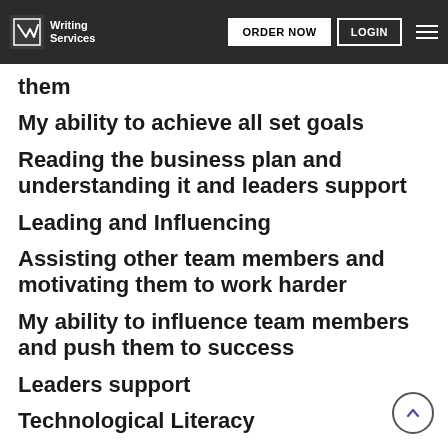Writing Services | ORDER NOW | LOGIN
them
My ability to achieve all set goals
Reading the business plan and understanding it and leaders support
Leading and Influencing
Assisting other team members and motivating them to work harder
My ability to influence team members and push them to success
Leaders support
Technological Literacy